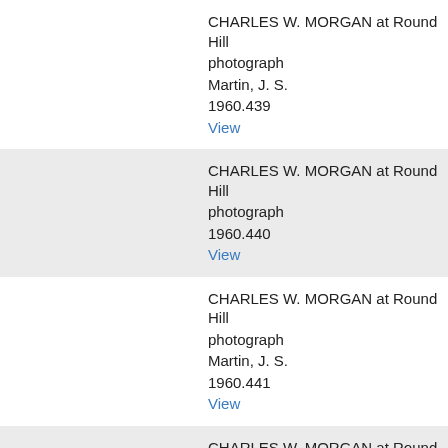CHARLES W. MORGAN at Round Hill
photograph
Martin, J. S.
1960.439
View
CHARLES W. MORGAN at Round Hill
photograph
1960.440
View
CHARLES W. MORGAN at Round Hill
photograph
Martin, J. S.
1960.441
View
CHARLES W. MORGAN at Round Hill
photograph
1960.444
View
CHARLES W. MORGAN at Round Hill
photograph
1960.445